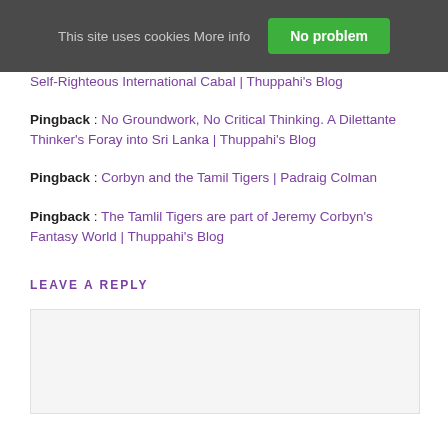This site uses cookies More info | No problem
Self-Righteous International Cabal | Thuppahi's Blog
Pingback : No Groundwork, No Critical Thinking. A Dilettante Thinker's Foray into Sri Lanka | Thuppahi's Blog
Pingback : Corbyn and the Tamil Tigers | Padraig Colman
Pingback : The Tamlil Tigers are part of Jeremy Corbyn's Fantasy World | Thuppahi's Blog
LEAVE A REPLY
[Figure (other): Comment text input box (empty, light gray background)]